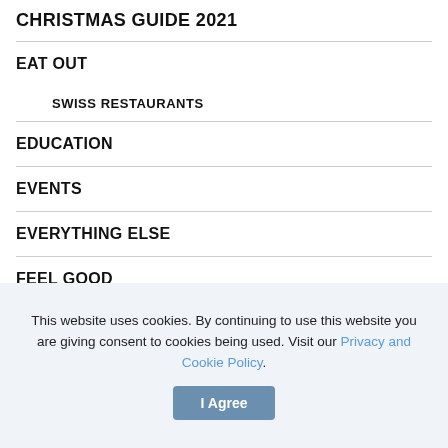CHRISTMAS GUIDE 2021
EAT OUT
SWISS RESTAURANTS
EDUCATION
EVENTS
EVERYTHING ELSE
FEEL GOOD
GET AWAY
GO OUT
This website uses cookies. By continuing to use this website you are giving consent to cookies being used. Visit our Privacy and Cookie Policy. I Agree